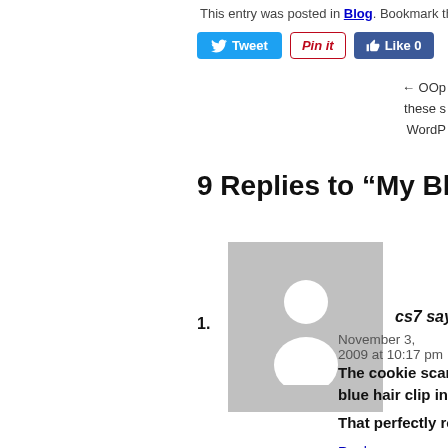This entry was posted in Blog. Bookmark the perm
[Figure (screenshot): Social sharing buttons: Tweet (blue), Pin it (red outline), Like 0 (blue Facebook)]
← OOp these s WordP
9 Replies to “My Blog is Fixe…
[Figure (photo): Default avatar placeholder with grey background and white silhouette of a person]
1.
cs7 says:
November 3, 2009 at 10:17 pm
The cookie scarf is amazing. Would yo blue hair clip in the scarf picture?
That perfectly round pile of mashed p
Reply
[Figure (photo): Photo of person with bright pink/red hair]